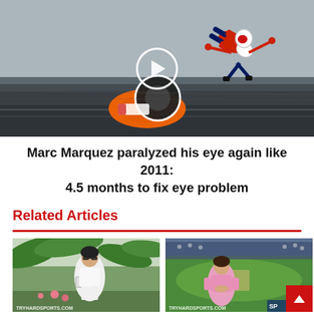[Figure (photo): Action photo of Marc Marquez crashing his motorcycle on a racetrack, rider flipped in the air, orange-red Honda Repsol bike visible, with a white play button overlay indicating a video]
Marc Marquez paralyzed his eye again like 2011: 4.5 months to fix eye problem
Related Articles
[Figure (photo): Young woman in white outfit with sunglasses, standing near tropical plants, watermark TRYHARDSPORTS.COM]
[Figure (photo): Young woman in pink outfit standing in a stadium with a cricket/sports field visible in background, watermark TRYHARDSPORTS.COM]